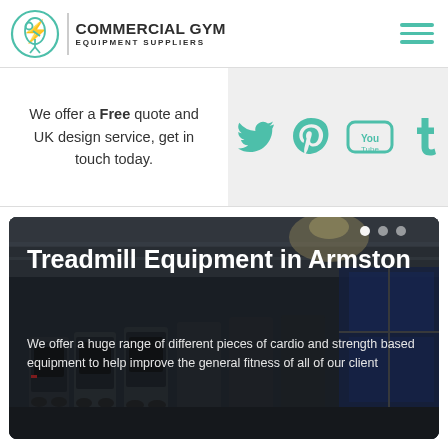COMMERCIAL GYM EQUIPMENT SUPPLIERS
We offer a Free quote and UK design service, get in touch today.
[Figure (logo): Social media icons: Twitter, Pinterest, YouTube, Tumblr in teal color on light grey background]
Treadmill Equipment in Armston
We offer a huge range of different pieces of cardio and strength based equipment to help improve the general fitness of all of our client
[Figure (photo): Photo of a commercial gym interior with rows of treadmill equipment, large windows in the background]